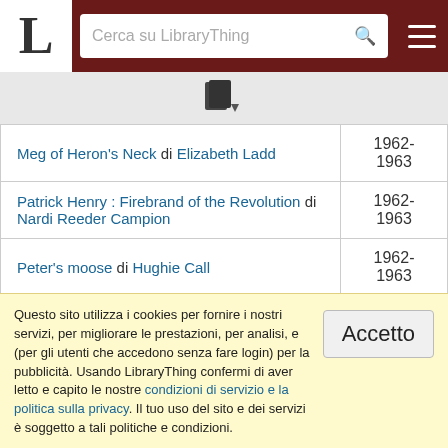LibraryThing - Cerca su LibraryThing
[Figure (screenshot): Toolbar icon area with book/document icon]
| Titolo | Anno |
| --- | --- |
| Meg of Heron's Neck di Elizabeth Ladd | 1962-1963 |
| Patrick Henry : Firebrand of the Revolution di Nardi Reeder Campion | 1962-1963 |
| Peter's moose di Hughie Call | 1962-1963 |
| The Phantom of Walkaway Hill di Edward Fenton | 1962-1963 |
Questo sito utilizza i cookies per fornire i nostri servizi, per migliorare le prestazioni, per analisi, e (per gli utenti che accedono senza fare login) per la pubblicità. Usando LibraryThing confermi di aver letto e capito le nostre condizioni di servizio e la politica sulla privacy. Il tuo uso del sito e dei servizi è soggetto a tali politiche e condizioni.